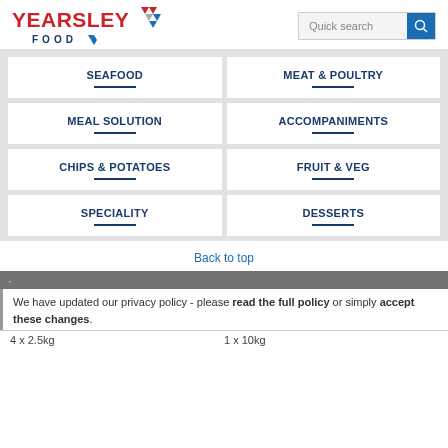[Figure (logo): Yearsley Food logo with red text and diamond shapes]
Quick search
SEAFOOD
MEAT & POULTRY
MEAL SOLUTION
ACCOMPANIMENTS
CHIPS & POTATOES
FRUIT & VEG
SPECIALITY
DESSERTS
Back to top
We have updated our privacy policy - please read the full policy or simply accept these changes.
4 x 2.5kg
1 x 10kg